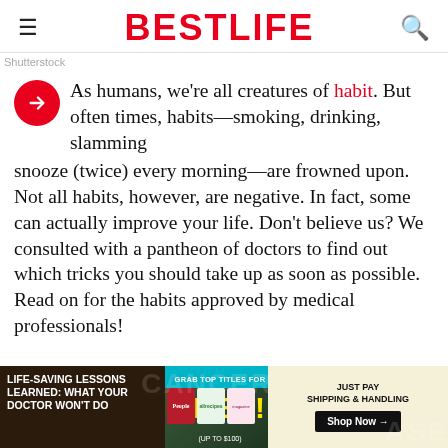BESTLIFE
Shutterstock
As humans, we're all creatures of habit. But often times, habits—smoking, drinking, slamming snooze (twice) every morning—are frowned upon. Not all habits, however, are negative. In fact, some can actually improve your life. Don't believe us? We consulted with a pantheon of doctors to find out which tricks you should take up as soon as possible. Read on for the habits approved by medical professionals!
[Figure (screenshot): Advertisement banner: Life-saving lessons learned: What your doctor won't do. Cancer disease article promo with magazine subscription ad - People and allrecipes magazines, Grab top titles for FREE! Just pay shipping & handling. Shop Now.]